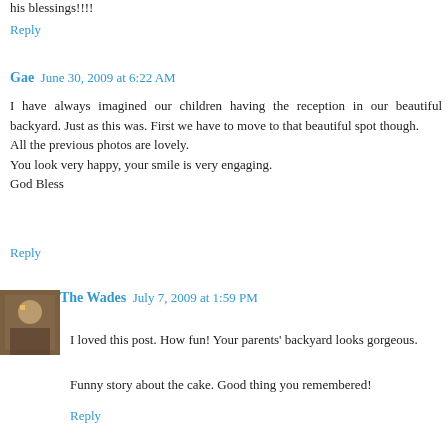his blessings!!!!
Reply
Gae  June 30, 2009 at 6:22 AM
I have always imagined our children having the reception in our beautiful backyard. Just as this was. First we have to move to that beautiful spot though.
All the previous photos are lovely.
You look very happy, your smile is very engaging.
God Bless
Reply
The Wades  July 7, 2009 at 1:59 PM
I loved this post. How fun! Your parents' backyard looks gorgeous.

Funny story about the cake. Good thing you remembered!
Reply